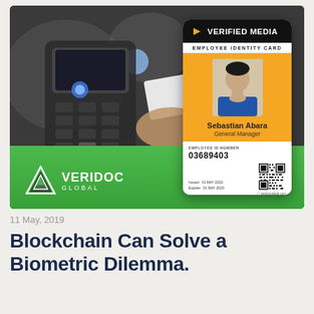[Figure (photo): Background photo of a person using an access card at a keypad/biometric terminal, with a green accent at bottom. Overlaid with a Verified Media Employee Identity Card for Sebastian Abara, General Manager, Employee ID 03689403, issued 01 MAY 2019, expires 01 MAY 2020. VeriDoc Global logo in the lower left of the image.]
11 May, 2019
Blockchain Can Solve a Biometric Dilemma.